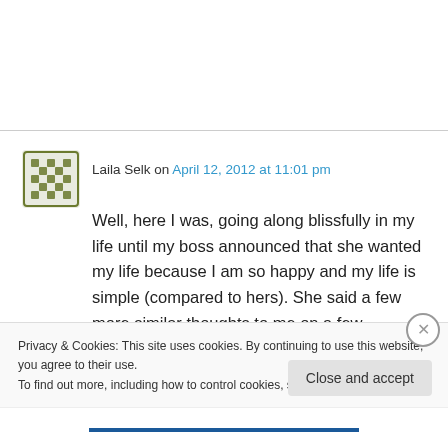Laila Selk on April 12, 2012 at 11:01 pm
Well, here I was, going along blissfully in my life until my boss announced that she wanted my life because I am so happy and my life is simple (compared to hers). She said a few more similar thoughts to me on a few successive days that I then began to feel badly and took it all so personally. I gave myself a seething case of
Privacy & Cookies: This site uses cookies. By continuing to use this website, you agree to their use.
To find out more, including how to control cookies, see here: Cookie Policy